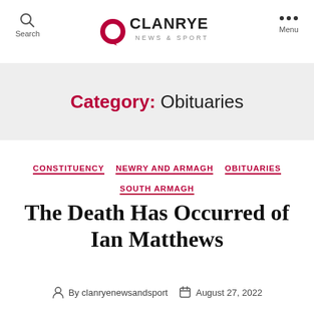CLANRYE NEWS & SPORT — Search | Menu
Category: Obituaries
CONSTITUENCY
NEWRY AND ARMAGH
OBITUARIES
SOUTH ARMAGH
The Death Has Occurred of Ian Matthews
By clanryenewsandsport   August 27, 2022